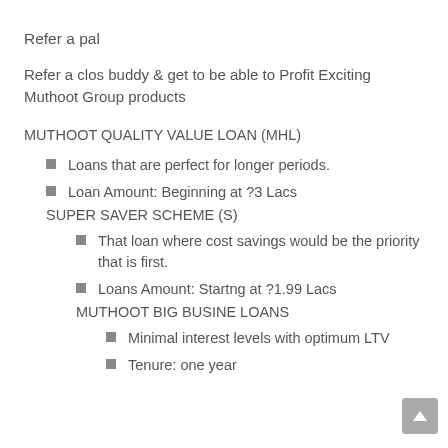Refer a pal
Refer a clos buddy & get to be able to Profit Exciting Muthoot Group products
MUTHOOT QUALITY VALUE LOAN (MHL)
Loans that are perfect for longer periods.
Loan Amount: Beginning at ?3 Lacs
SUPER SAVER SCHEME (S)
That loan where cost savings would be the priority that is first.
Loans Amount: Startng at ?1.99 Lacs
MUTHOOT BIG BUSINE LOANS
Minimal interest levels with optimum LTV
Tenure: one year